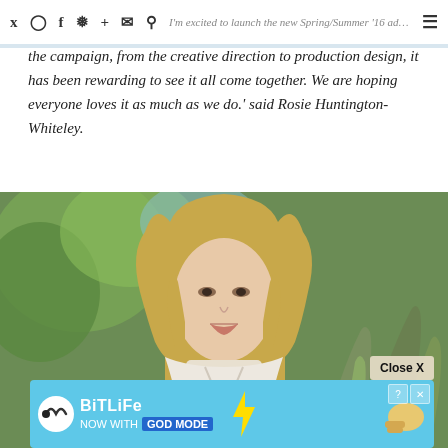I'm excited to launch the new Spring/Summer '16 ad campaign with Paige Denim. Working on all aspects of
the campaign, from the creative direction to production design, it has been rewarding to see it all come together. We are hoping everyone loves it as much as we do.' said Rosie Huntington-Whiteley.
[Figure (photo): Portrait photo of a blonde woman (Rosie Huntington-Whiteley) outdoors with greenery and agave plants in background, wearing a floral white top with a choker]